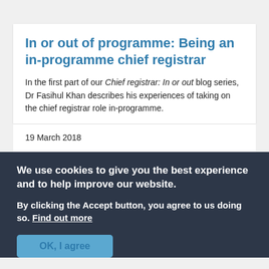In or out of programme: Being an in-programme chief registrar
In the first part of our Chief registrar: In or out blog series, Dr Fasihul Khan describes his experiences of taking on the chief registrar role in-programme.
19 March 2018
We use cookies to give you the best experience and to help improve our website.
By clicking the Accept button, you agree to us doing so. Find out more